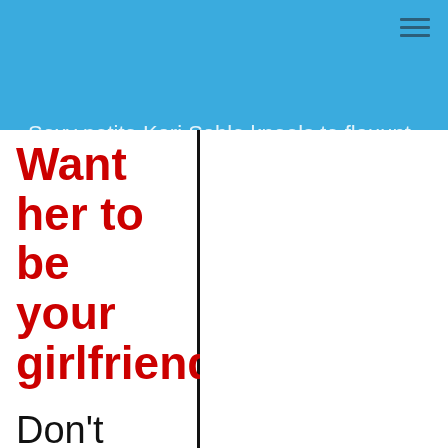Sexy petite Kari Sable kneels to flauunt tiny ass and stretches pussy lips
Want her to be your girlfriend?
Don't make this